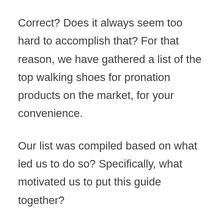Correct? Does it always seem too hard to accomplish that? For that reason, we have gathered a list of the top walking shoes for pronation products on the market, for your convenience.
Our list was compiled based on what led us to do so? Specifically, what motivated us to put this guide together?
We first gathered product information from reliable sources using the algorithms we had created.